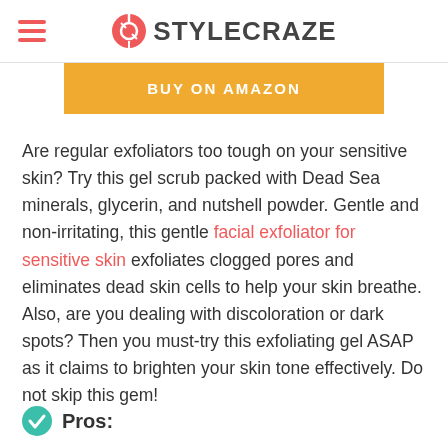STYLECRAZE
[Figure (other): BUY ON AMAZON button in orange/yellow]
Are regular exfoliators too tough on your sensitive skin? Try this gel scrub packed with Dead Sea minerals, glycerin, and nutshell powder. Gentle and non-irritating, this gentle facial exfoliator for sensitive skin exfoliates clogged pores and eliminates dead skin cells to help your skin breathe. Also, are you dealing with discoloration or dark spots? Then you must-try this exfoliating gel ASAP as it claims to brighten your skin tone effectively. Do not skip this gem!
Pros: